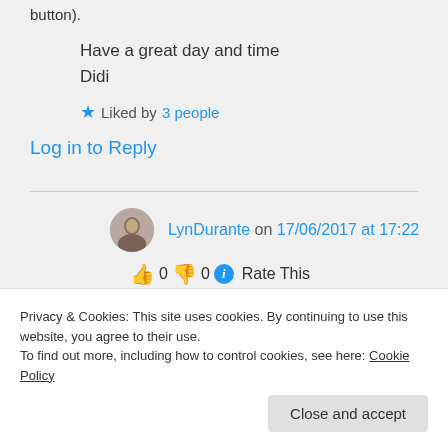button).
Have a great day and time
Didi
Liked by 3 people
Log in to Reply
LynDurante on 17/06/2017 at 17:22
👍 0 👎 0 ℹ Rate This
Privacy & Cookies: This site uses cookies. By continuing to use this website, you agree to their use.
To find out more, including how to control cookies, see here: Cookie Policy
Close and accept
Liked by 3 people